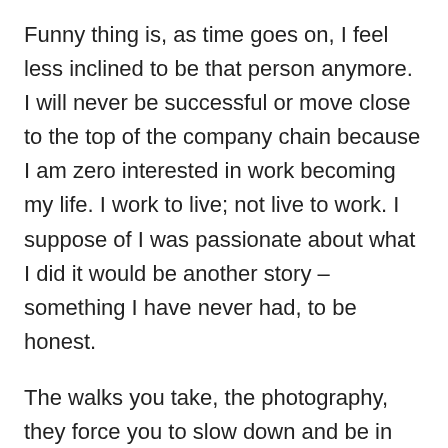Funny thing is, as time goes on, I feel less inclined to be that person anymore. I will never be successful or move close to the top of the company chain because I am zero interested in work becoming my life. I work to live; not live to work. I suppose of I was passionate about what I did it would be another story – something I have never had, to be honest.
The walks you take, the photography, they force you to slow down and be in the moment; a sort of meditation…I'm curious because your personality is the type that you have now challenged yourself to do it. Do you enjoy it? Does it bring you some measure of peace in your hectic day? Honest question and definitely not meant to be a sh#t disturber. Has it become